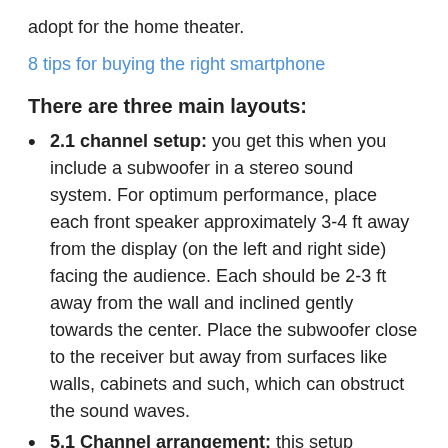adopt for the home theater.
8 tips for buying the right smartphone
There are three main layouts:
2.1 channel setup: you get this when you include a subwoofer in a stereo sound system. For optimum performance, place each front speaker approximately 3-4 ft away from the display (on the left and right side) facing the audience. Each should be 2-3 ft away from the wall and inclined gently towards the center. Place the subwoofer close to the receiver but away from surfaces like walls, cabinets and such, which can obstruct the sound waves.
5.1 Channel arrangement: this setup involves the center speaker, surround speakers, and the front speakers. Place the left and right front speakers as described in 2.1 channel setup. Then, align the center speaker with the screen